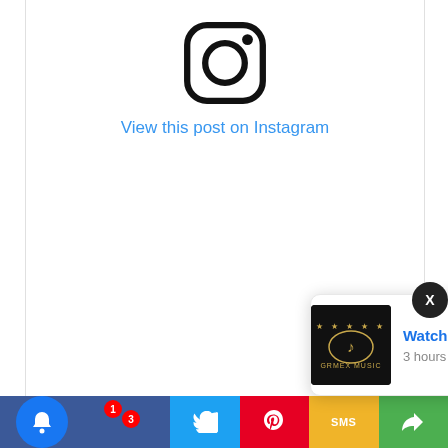[Figure (screenshot): Instagram embed widget showing Instagram logo, 'View this post on Instagram' link text, placeholder content area with heart/comment/bookmark icons and loading placeholder lines]
A post shared by D'banj (@iambangalee)
[Figure (screenshot): Notification popup showing 'Watch Nicki Minaj's Sizzling Performance At' with music logo image and '3 hours ago' timestamp]
[Figure (screenshot): Bottom toolbar with bell notification button (badges 1 and 3), Twitter, Pinterest, SMS (yellow), and share (green) buttons]